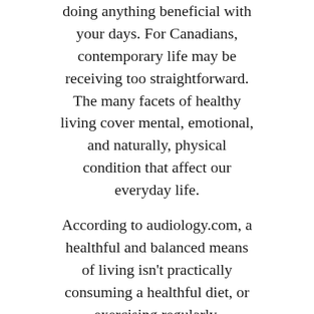doing anything beneficial with your days. For Canadians, contemporary life may be receiving too straightforward. The many facets of healthy living cover mental, emotional, and naturally, physical condition that affect our everyday life.

According to audiology.com, a healthful and balanced means of living isn't practically consuming a healthful diet, or exercising regularly. Community living is just among the most helpful possibilities for seniors including your